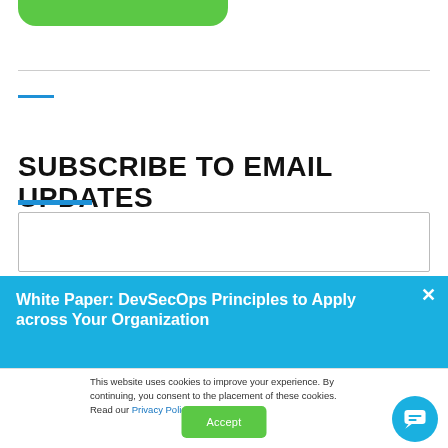[Figure (other): Green rounded pill/button shape at top of page]
SUBSCRIBE TO EMAIL UPDATES
[Figure (screenshot): Email input text field with border]
[Figure (other): Blue notification banner overlay with white X close button and text: White Paper: DevSecOps Principles to Apply across Your Organization]
This website uses cookies to improve your experience. By continuing, you consent to the placement of these cookies. Read our Privacy Policy to learn more.
[Figure (other): Green Accept button]